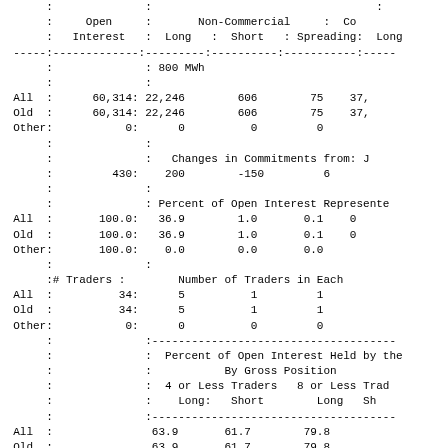|  | Open Interest | Non-Commercial Long | Non-Commercial Short | Non-Commercial Spreading | Commercial Long |
| --- | --- | --- | --- | --- | --- |
|  |  | 800 MWh |  |  |  |
| All | 60,314: | 22,246 | 606 | 75 | 37, |
| Old | 60,314: | 22,246 | 606 | 75 | 37, |
| Other: | 0: | 0 | 0 | 0 |  |
|  |  | Changes in Commitments from: J |  |  |  |
|  | 430: | 200 | -150 | 6 |  |
|  |  | Percent of Open Interest Represente |  |  |  |
| All | 100.0: | 36.9 | 1.0 | 0.1 |  |
| Old | 100.0: | 36.9 | 1.0 | 0.1 |  |
| Other: | 100.0: | 0.0 | 0.0 | 0.0 |  |
|  | # Traders : |  | Number of Traders in Each |  |  |
| All | 34: | 5 | 1 | 1 |  |
| Old | 34: | 5 | 1 | 1 |  |
| Other: | 0: | 0 | 0 | 0 |  |
|  |  | Percent of Open Interest Held by the | By Gross Position |  |  |
|  |  | 4 or Less Traders Long: | Short | 8 or Less Tra |  |
| All |  | 63.9 | 61.7 | 79.8 |  |
| Old |  | 63.9 | 61.7 | 79.8 |  |